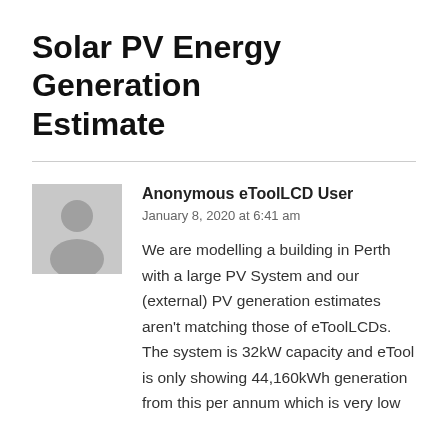Solar PV Energy Generation Estimate
Anonymous eToolLCD User
January 8, 2020 at 6:41 am
We are modelling a building in Perth with a large PV System and our (external) PV generation estimates aren't matching those of eToolLCDs. The system is 32kW capacity and eTool is only showing 44,160kWh generation from this per annum which is very low